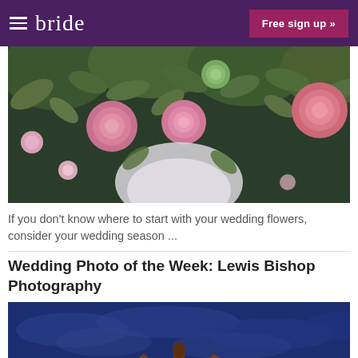bride | Free sign up »
[Figure (photo): Close-up of wedding flower bouquet with pink roses, peonies and green foliage]
If you don't know where to start with your wedding flowers, consider your wedding season ...
Wedding Photo of the Week: Lewis Bishop Photography
[Figure (photo): Illuminated historic brick manor house at dusk with deep blue sky, lit up dramatically from below]